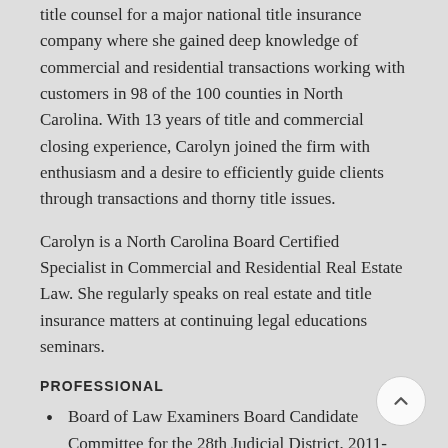title counsel for a major national title insurance company where she gained deep knowledge of commercial and residential transactions working with customers in 98 of the 100 counties in North Carolina. With 13 years of title and commercial closing experience, Carolyn joined the firm with enthusiasm and a desire to efficiently guide clients through transactions and thorny title issues.
Carolyn is a North Carolina Board Certified Specialist in Commercial and Residential Real Estate Law. She regularly speaks on real estate and title insurance matters at continuing legal educations seminars.
PROFESSIONAL
Board of Law Examiners Board Candidate Committee for the 28th Judicial District, 2011-present
North Carolina Land Title Association, President and recipient of special award for Exceptional Service to